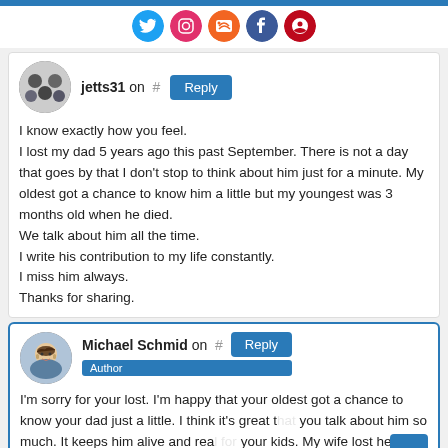[Figure (illustration): Social media icons row (Twitter, Instagram, RSS, Facebook, Pinterest) at top of page]
jetts31 on # Reply
I know exactly how you feel.
I lost my dad 5 years ago this past September. There is not a day that goes by that I don't stop to think about him just for a minute. My oldest got a chance to know him a little but my youngest was 3 months old when he died.
We talk about him all the time.
I write his contribution to my life constantly.
I miss him always.
Thanks for sharing.
Michael Schmid on # Reply
Author
I'm sorry for your lost. I'm happy that your oldest got a chance to know your dad just a little. I think it's great that you talk about him so much. It keeps him alive and real for your kids. My wife lost her mom when she was a teen, so